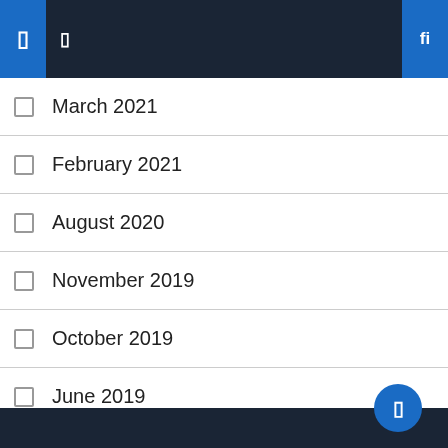Navigation bar with icons
March 2021
February 2021
August 2020
November 2019
October 2019
June 2019
May 2019
March 2019